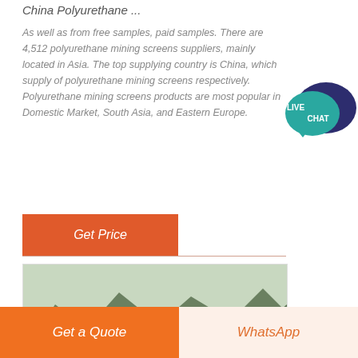China Polyurethane ...
As well as from free samples, paid samples. There are 4,512 polyurethane mining screens suppliers, mainly located in Asia. The top supplying country is China, which supply of polyurethane mining screens respectively. Polyurethane mining screens products are most popular in Domestic Market, South Asia, and Eastern Europe.
[Figure (other): Live Chat button widget - teal speech bubble with chat icon and text LIVE CHAT]
Get Price
[Figure (photo): Industrial/mining facility with mountains in the background, red-roofed buildings, scaffolding and equipment visible]
Get a Quote
WhatsApp